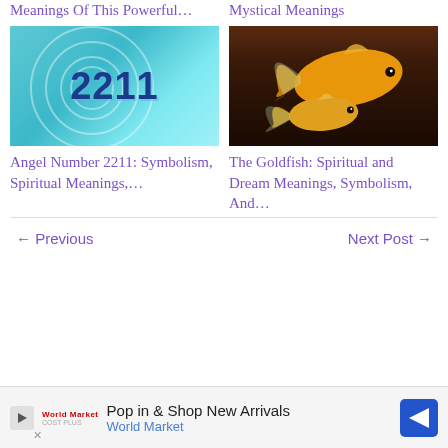Meanings Of This Powerful…
Mystical Meanings
[Figure (photo): Image showing the number 2211 in bold dark blue text over a teal water ripple background]
[Figure (photo): Photo of two goldfish (large and small) swimming against a dark brown background]
Angel Number 2211: Symbolism, Spiritual Meanings,…
The Goldfish: Spiritual and Dream Meanings, Symbolism, And…
← Previous
Next Post →
Pop in & Shop New Arrivals
World Market